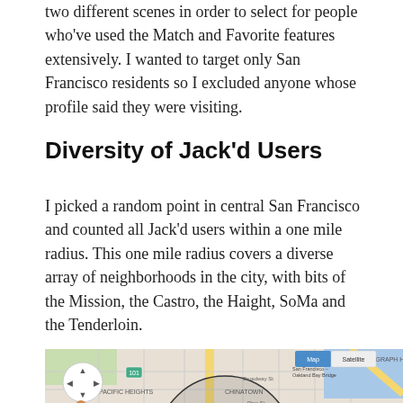two different scenes in order to select for people who've used the Match and Favorite features extensively. I wanted to target only San Francisco residents so I excluded anyone whose profile said they were visiting.
Diversity of Jack'd Users
I picked a random point in central San Francisco and counted all Jack'd users within a one mile radius. This one mile radius covers a diverse array of neighborhoods in the city, with bits of the Mission, the Castro, the Haight, SoMa and the Tenderloin.
[Figure (map): Google Map showing central San Francisco with a circular one-mile radius overlay centered near Civic Center/Tenderloin area, showing neighborhoods including Russian Hill, Telegraph Hill, Pacific Heights, Lower Pacific Heights, Chinatown, Tenderloin, Western Addition, Anza Vista, Civic Center, South of Market, and landmarks like Moscone Center and AT&T Park. The map shows a navigation control, pegman icon, zoom controls, and Map/Satellite toggle. A red pin marker is visible at the center of the circle.]